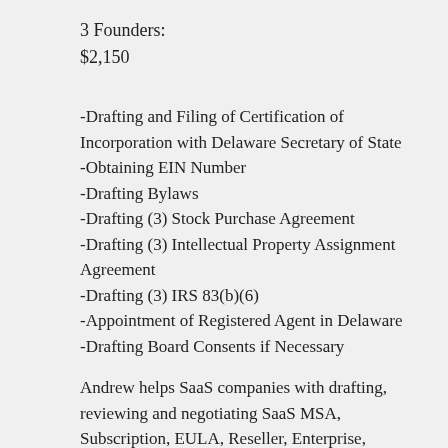3 Founders:
$2,150
-Drafting and Filing of Certification of Incorporation with Delaware Secretary of State
-Obtaining EIN Number
-Drafting Bylaws
-Drafting (3) Stock Purchase Agreement
-Drafting (3) Intellectual Property Assignment Agreement
-Drafting (3) IRS 83(b)(6)
-Appointment of Registered Agent in Delaware
-Drafting Board Consents if Necessary
Andrew helps SaaS companies with drafting, reviewing and negotiating SaaS MSA, Subscription, EULA, Reseller, Enterprise, Vendor & Customer Agreements, Contracts and Templates. https://saas-attorney.com
Andrew also drafts and negotiates Technology and